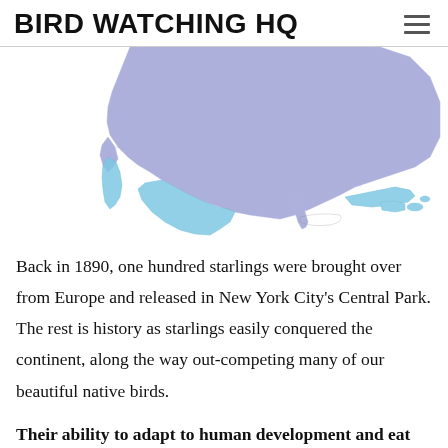BIRD WATCHING HQ
[Figure (map): A map of North America showing the range of European Starlings. The majority of the United States and southern Canada is shaded in purple/lavender indicating year-round range. Parts of central Mexico and some Caribbean islands are shaded in lighter blue indicating winter range.]
Back in 1890, one hundred starlings were brought over from Europe and released in New York City's Central Park. The rest is history as starlings easily conquered the continent, along the way out-competing many of our beautiful native birds.
Their ability to adapt to human development and eat